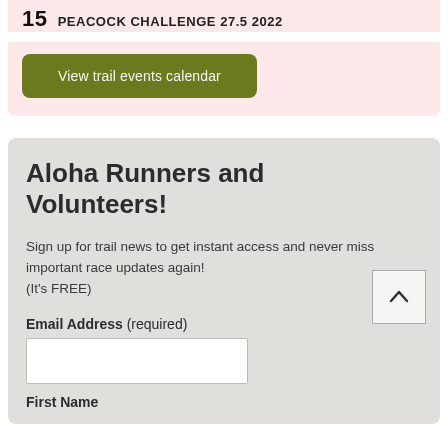15  PEACOCK CHALLENGE 27.5 2022
View trail events calendar
Aloha Runners and Volunteers!
Sign up for trail news to get instant access and never miss important race updates again! (It's FREE)
Email Address (required)
First Name